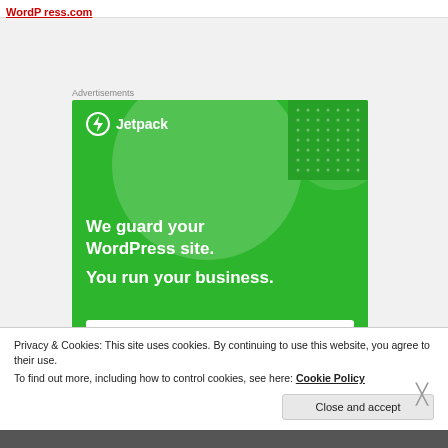WordP ress.com
Advertisements
[Figure (illustration): Jetpack advertisement banner on green background. Shows Jetpack logo (circle with lightning bolt icon) and text: 'We guard your WordPress site. You run your business.' with a white button bar at the bottom.]
Privacy & Cookies: This site uses cookies. By continuing to use this website, you agree to their use.
To find out more, including how to control cookies, see here: Cookie Policy
Close and accept